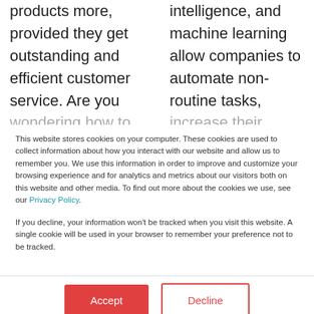products more, provided they get outstanding and efficient customer service. Are you wondering how to
intelligence, and machine learning allow companies to automate non-routine tasks, increase their
This website stores cookies on your computer. These cookies are used to collect information about how you interact with our website and allow us to remember you. We use this information in order to improve and customize your browsing experience and for analytics and metrics about our visitors both on this website and other media. To find out more about the cookies we use, see our Privacy Policy.

If you decline, your information won't be tracked when you visit this website. A single cookie will be used in your browser to remember your preference not to be tracked.
Accept
Decline